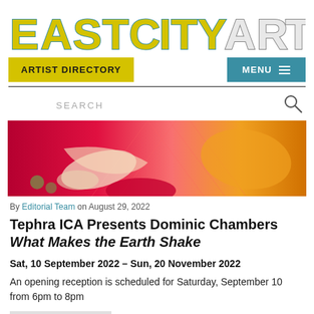EASTCITYART
ARTIST DIRECTORY
MENU
SEARCH
[Figure (photo): Colorful abstract painting with pink, red, orange, and yellow tones showing a reclining figure]
By Editorial Team on August 29, 2022
Tephra ICA Presents Dominic Chambers What Makes the Earth Shake
Sat, 10 September 2022 – Sun, 20 November 2022
An opening reception is scheduled for Saturday, September 10 from 6pm to 8pm